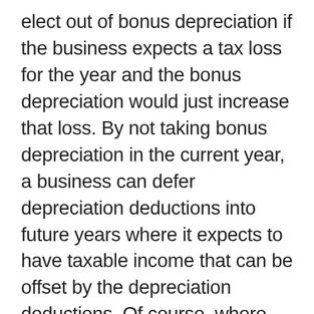elect out of bonus depreciation if the business expects a tax loss for the year and the bonus depreciation would just increase that loss. By not taking bonus depreciation in the current year, a business can defer depreciation deductions into future years where it expects to have taxable income that can be offset by the depreciation deductions. Of course, where the business is operated through a flow-through entity, additional considerations must be given to the tax situation of the owner of the flow-through entity and whether the owner can benefit from the flow through of